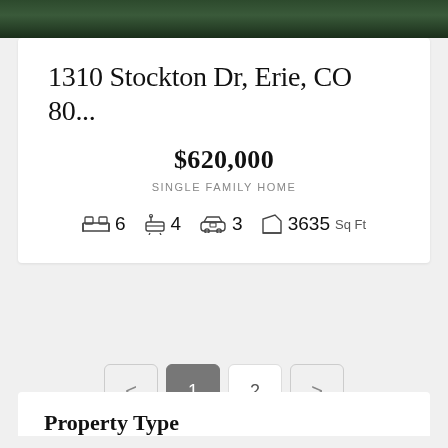[Figure (photo): Aerial or outdoor photo of property, dark green foliage visible at top strip]
1310 Stockton Dr, Erie, CO 80...
$620,000
SINGLE FAMILY HOME
6 bedrooms  4 bathrooms  3 garage  3635 Sq Ft
< 1 2 >
Property Type